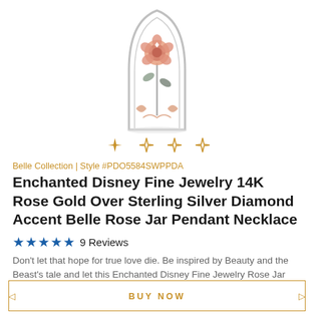[Figure (photo): A pendant necklace shaped like a domed bell jar/arch in silver with a rose gold rose and floral decorations inside, on white background]
[Figure (other): Four diamond/star decorative icons in gold: one filled star-diamond and three outline diamond shapes]
Belle Collection | Style #PDO5584SWPPDA
Enchanted Disney Fine Jewelry 14K Rose Gold Over Sterling Silver Diamond Accent Belle Rose Jar Pendant Necklace
★★★★★ 9 Reviews
Don't let that hope for true love die. Be inspired by Beauty and the Beast's tale and let this Enchanted Disney Fine Jewelry Rose Jar Necklace remind you ...
BUY NOW